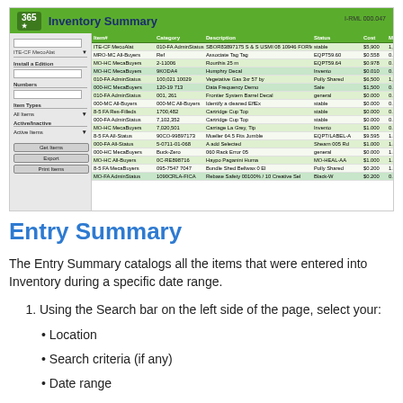[Figure (screenshot): Screenshot of an Inventory Summary software screen with a green header showing '365' logo and 'Inventory Summary' title, with a data table listing inventory items with columns for item number, category, product code, description, status, cost, min, max, and quantity.]
Entry Summary
The Entry Summary catalogs all the items that were entered into Inventory during a specific date range.
Using the Search bar on the left side of the page, select your:
Location
Search criteria (if any)
Date range